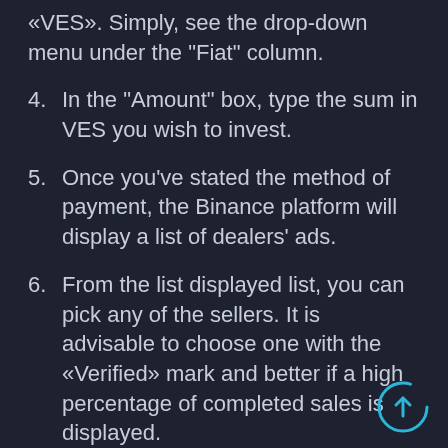«VES». Simply, see the drop-down menu under the "Fiat" column.
4. In the "Amount" box, type the sum in VES you wish to invest.
5. Once you've stated the method of payment, the Binance platform will display a list of dealers' ads.
6. From the list displayed list, you can pick any of the sellers. It is advisable to choose one with the «Verified» mark and better if a high percentage of completed sales is displayed.
7. Now press "Buy USDT"
8. Type the amount in VES you would like to pay